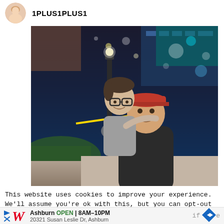1PLUS1PLUS1
[Figure (photo): A child with glasses hugging a smiling adult from behind, outdoors at night near a street lamp and commercial buildings with lights]
This website uses cookies to improve your experience. We'll assume you're ok with this, but you can opt-out
[Figure (infographic): Walgreens advertisement banner: Ashburn OPEN 8AM-10PM, 20321 Susan Leslie Dr, Ashburn]